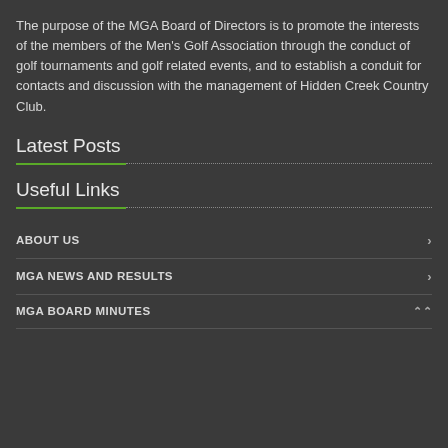The purpose of the MGA Board of Directors is to promote the interests of the members of the Men's Golf Association through the conduct of golf tournaments and golf related events, and to establish a conduit for contacts and discussion with the management of Hidden Creek Country Club.
Latest Posts
Useful Links
ABOUT US
MGA NEWS AND RESULTS
MGA BOARD MINUTES